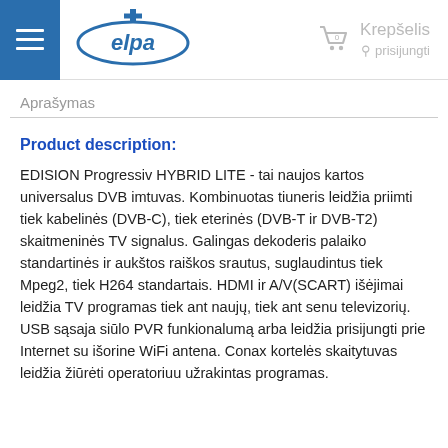elpa — Krepšelis 0 & prisijungti
Aprašymas
Product description:
EDISION Progressiv HYBRID LITE - tai naujos kartos universalus DVB imtuvas. Kombinuotas tiuneris leidžia priimti tiek kabelinės (DVB-C), tiek eterinės (DVB-T ir DVB-T2) skaitmeninės TV signalus. Galingas dekoderis palaiko standartinės ir aukštos raiškos srautus, suglaudintus tiek Mpeg2, tiek H264 standartais. HDMI ir A/V(SCART) išėjimai leidžia TV programas tiek ant naujų, tiek ant senu televizorių. USB sąsaja siūlo PVR funkionalumą arba leidžia prisijungti prie Internet su išorine WiFi antena. Conax kortelės skaitytuvas leidžia žiūrėti operatoriuu užrakintas programas.